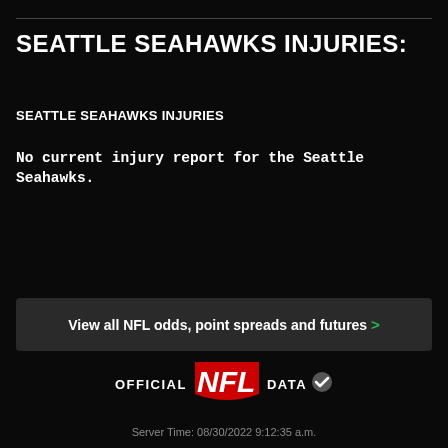SEATTLE SEAHAWKS INJURIES:
SEATTLE SEAHAWKS INJURIES
No current injury report for the Seattle Seahawks.
View all NFL odds, point spreads and futures >
[Figure (logo): OFFICIAL NFL DATA logo with NFL wordmark in red and a checkmark badge]
Server Time: 08/30/2022 9:12:35 a.m.